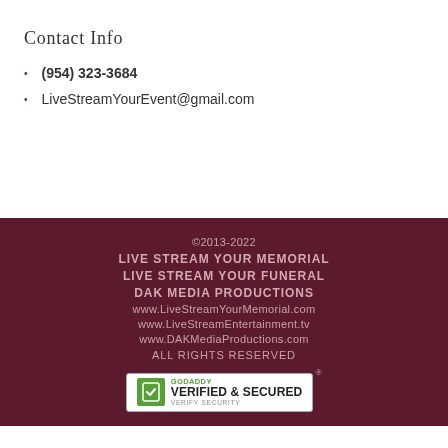Contact Info
(954) 323-3684
LiveStreamYourEvent@gmail.com
©2013-2022
LIVE STREAM YOUR MEMORIAL
LIVE STREAM YOUR FUNERAL
DAK MEDIA PRODUCTIONS
www.LiveStreamYourMemorial.com
www.LiveStreamEntertainment.tv
www.DAKMediaProductions.com
ALL RIGHTS RESERVED